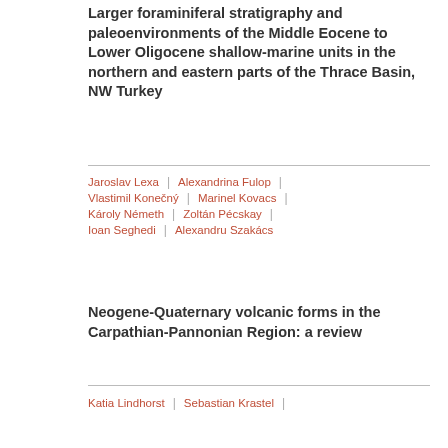Larger foraminiferal stratigraphy and paleoenvironments of the Middle Eocene to Lower Oligocene shallow-marine units in the northern and eastern parts of the Thrace Basin, NW Turkey
Jaroslav Lexa | Alexandrina Fulop | Vlastimil Konečný | Marinel Kovacs | Károly Németh | Zoltán Pécskay | Ioan Seghedi | Alexandru Szakács
Neogene-Quaternary volcanic forms in the Carpathian-Pannonian Region: a review
Katia Lindhorst | Sebastian Krastel